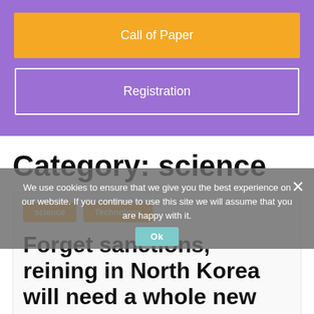Call of Paper
Registration
Category: science
science
Technology
Forget sanctions, reining in North Korea will need a whole new approach
We use cookies to ensure that we give you the best experience on our website. If you continue to use this site we will assume that you are happy with it.
Ok